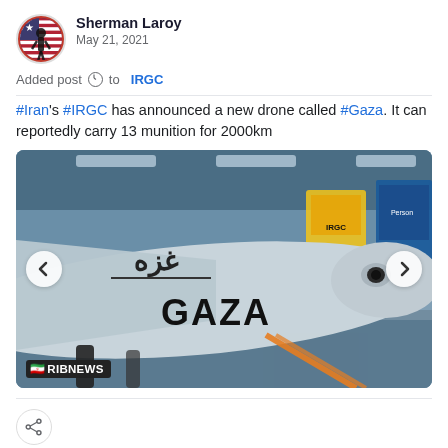Sherman Laroy
May 21, 2021
Added post to IRGC
#Iran's #IRGC has announced a new drone called #Gaza. It can reportedly carry 13 munition for 2000km
[Figure (photo): Photograph of a drone labeled 'Gaza' (in Arabic 'غزه' and English 'GAZA') displayed in an exhibition hangar, with IRGC logos visible in the background. RIBNEWS watermark at bottom left. Navigation arrows on left and right sides.]